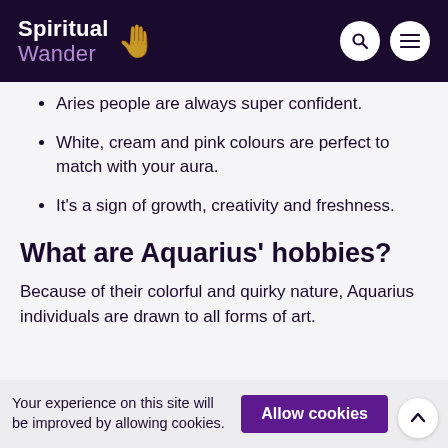Spiritual Wander
Aries people are always super confident.
White, cream and pink colours are perfect to match with your aura.
It's a sign of growth, creativity and freshness.
What are Aquarius' hobbies?
Because of their colorful and quirky nature, Aquarius individuals are drawn to all forms of art.
Your experience on this site will be improved by allowing cookies.